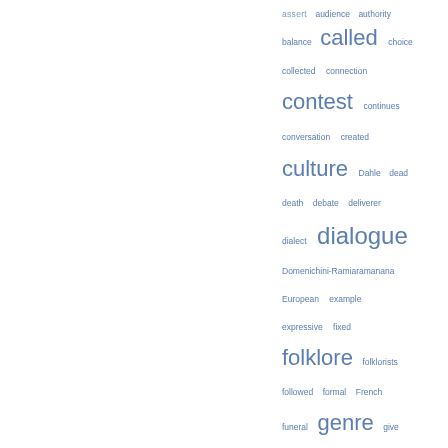[Figure (infographic): Tag cloud / word cloud showing index terms related to hainteny and Malagasy oral literature, displayed in various font sizes indicating frequency. Terms include: assert, audience, authority, balance, called, choice, collected, connection, contest, continues, conversation, created, culture, Dahle, dead, death, debate, deliverer, dialect, dialogue, Domenichini-Ramiaramanana, European, example, expressive, fixed, folklore, folklorists, followed, formal, French, funeral, genre, give, hainteny, hianao, Houlder, importance, interaction, island, kabary]